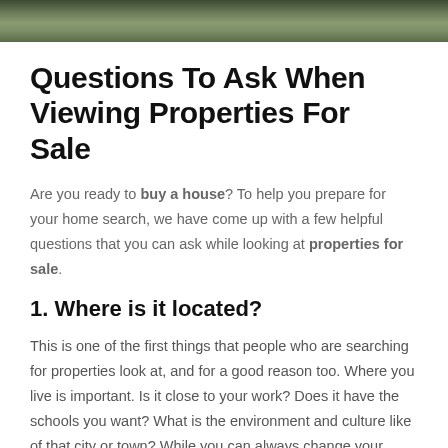[Figure (photo): Top portion of a photo showing people and a house exterior, cropped at the top of the page]
Questions To Ask When Viewing Properties For Sale
Are you ready to buy a house? To help you prepare for your home search, we have come up with a few helpful questions that you can ask while looking at properties for sale.
1. Where is it located?
This is one of the first things that people who are searching for properties look at, and for a good reason too. Where you live is important. Is it close to your work? Does it have the schools you want? What is the environment and culture like of that city or town? While you can always change your house's appearance and make improvements, you can't change the location it's in,